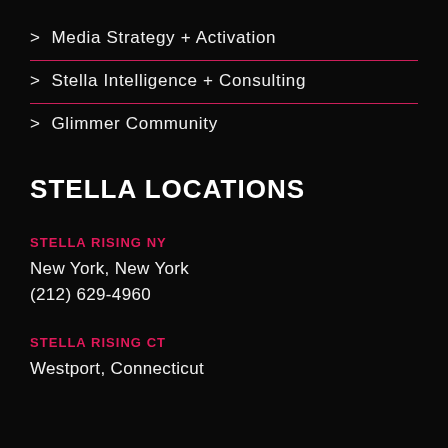> Media Strategy + Activation
> Stella Intelligence + Consulting
> Glimmer Community
STELLA LOCATIONS
STELLA RISING NY
New York, New York
(212) 629-4960
STELLA RISING CT
Westport, Connecticut